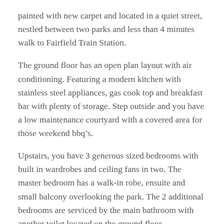painted with new carpet and located in a quiet street, nestled between two parks and less than 4 minutes walk to Fairfield Train Station.
The ground floor has an open plan layout with air conditioning. Featuring a modern kitchen with stainless steel appliances, gas cook top and breakfast bar with plenty of storage. Step outside and you have a low maintenance courtyard with a covered area for those weekend bbq’s.
Upstairs, you have 3 generous sized bedrooms with built in wardrobes and ceiling fans in two. The master bedroom has a walk-in robe, ensuite and small balcony overlooking the park. The 2 additional bedrooms are serviced by the main bathroom with another toilet located on the ground floor.
Highlighted features include;
Modern kitchen with stainless steel appliances, dishwasher, gas